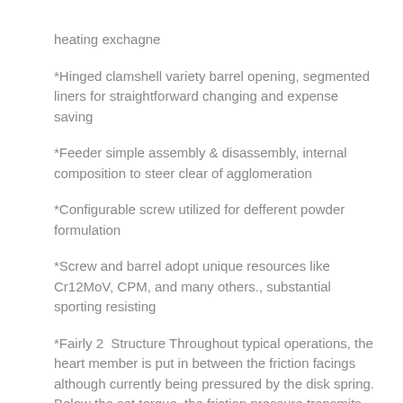heating exchagne
*Hinged clamshell variety barrel opening, segmented liners for straightforward changing and expense saving
*Feeder simple assembly & disassembly, internal composition to steer clear of agglomeration
*Configurable screw utilized for defferent powder formulation
*Screw and barrel adopt unique resources like Cr12MoV, CPM, and many others., substantial sporting resisting
*Fairly 2  Structure Throughout typical operations, the heart member is put in between the friction facings although currently being pressured by the disk spring. Below the set torque, the friction pressure transmits rotation. Throughout overload, if